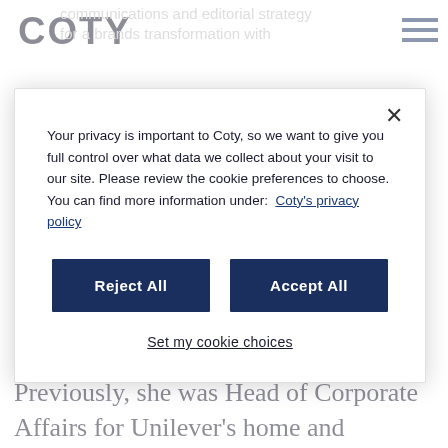COTY
communications and editorial strategy for a brands transformation with
Your privacy is important to Coty, so we want to give you full control over what data we collect about your visit to our site. Please review the cookie preferences to choose. You can find more information under: Coty's privacy policy
Reject All
Accept All
Set my cookie choices
Group leading internal and external communications as well as public and industry affairs in the UK and Ireland. Previously, she was Head of Corporate Affairs for Unilever's home and personal care division. Earlier in her career, Esra